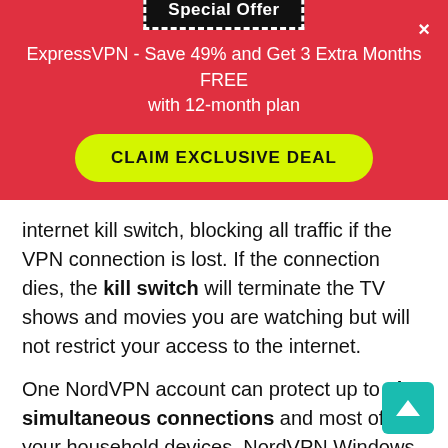[Figure (screenshot): Red promotional banner with 'Special Offer' badge, ExpressVPN deal text, and yellow 'CLAIM EXCLUSIVE DEAL' button]
internet kill switch, blocking all traffic if the VPN connection is lost. If the connection dies, the kill switch will terminate the TV shows and movies you are watching but will not restrict your access to the internet.
One NordVPN account can protect up to six simultaneous connections and most of your household devices. NordVPN Windows and mac apps are jam-packed with features like leak protection and specialist servers.